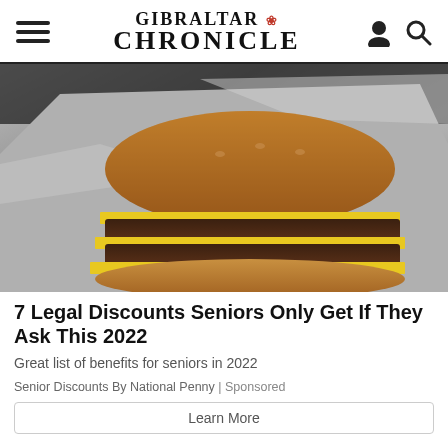GIBRALTAR CHRONICLE
[Figure (photo): Close-up photo of a double cheeseburger wrapped in foil, showing two beef patties with melted yellow cheese on a golden bun]
7 Legal Discounts Seniors Only Get If They Ask This 2022
Great list of benefits for seniors in 2022
Senior Discounts By National Penny | Sponsored
Learn More